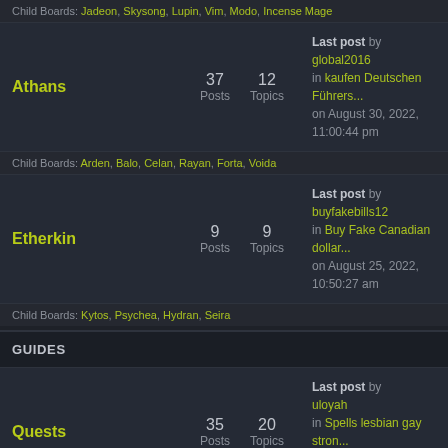Child Boards: Jadeon, Skysong, Lupin, Vim, Modo, Incense Mage
Athans — 37 Posts, 12 Topics — Last post by global2016 in kaufen Deutschen Führers... on August 30, 2022, 11:00:44 pm
Child Boards: Arden, Balo, Celan, Rayan, Forta, Voida
Etherkin — 9 Posts, 9 Topics — Last post by buyfakebills12 in Buy Fake Canadian dollar... on August 25, 2022, 10:50:27 am
Child Boards: Kytos, Psychea, Hydran, Seira
GUIDES
Quests — 35 Posts, 20 Topics — Last post by uloyah in Spells lesbian gay stron... on August 28, 2022, 09:46:11 pm